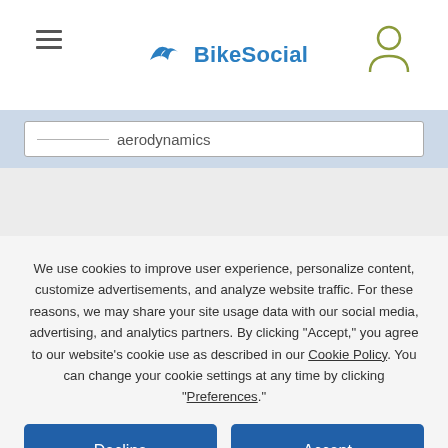BikeSocial
aerodynamics
We use cookies to improve user experience, personalize content, customize advertisements, and analyze website traffic. For these reasons, we may share your site usage data with our social media, advertising, and analytics partners. By clicking "Accept," you agree to our website's cookie use as described in our Cookie Policy. You can change your cookie settings at any time by clicking “Preferences.”
Decline
Accept
Preferences